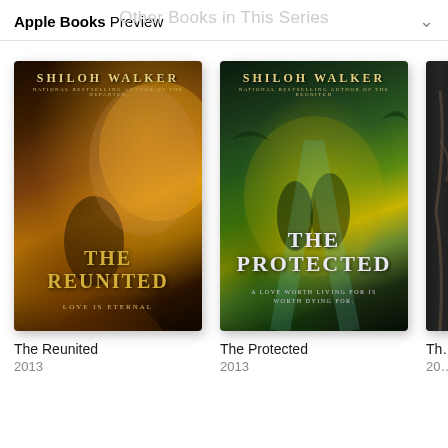Apple Books Preview
Other Books in This Series
[Figure (photo): Book cover: The Reunited by Shiloh Walker, 2013. Dark atmospheric cover with a man and woman, warm golden tones.]
The Reunited
2013
[Figure (photo): Book cover: The Protected by Shiloh Walker, 2013. Dark green/gold atmospheric cover with two figures holding hands.]
The Protected
2013
[Figure (photo): Partial book cover, third in series, dark tones, partially visible.]
Th...
20...